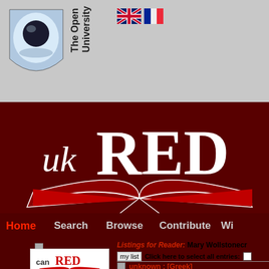[Figure (logo): The Open University shield logo with blue/white design and a circle]
The Open University
[Figure (illustration): UK and French flag icons]
[Figure (logo): UK RED logo - large white italic text 'uk RED' over a dark red open book illustration on dark red background]
Home   Search   Browse   Contribute   Wi...
Listings for Reader:  Mary Wollstonecr...
my list   Click here to select all entries:
[Figure (logo): canRED logo in white box with small book icon]
unknown : [Greek]